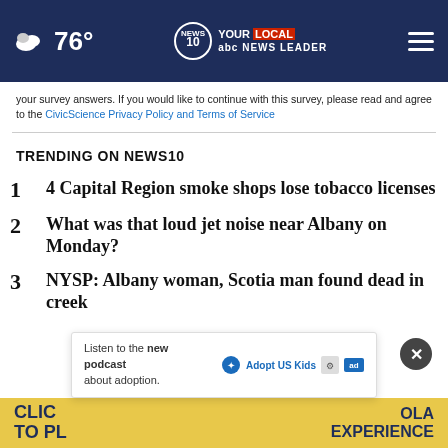76° | NEWS10 YOUR LOCAL NEWS LEADER
your survey answers. If you would like to continue with this survey, please read and agree to the CivicScience Privacy Policy and Terms of Service
TRENDING ON NEWS10
1 4 Capital Region smoke shops lose tobacco licenses
2 What was that loud jet noise near Albany on Monday?
3 NYSP: Albany woman, Scotia man found dead in creek
Listen to the new podcast about adoption.